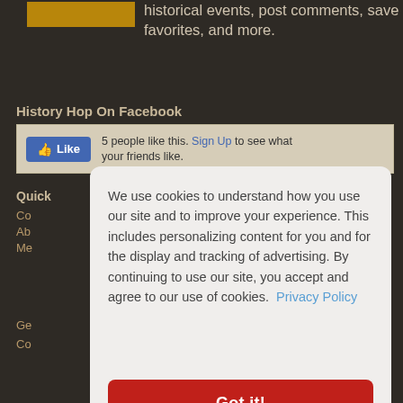[Figure (other): Gold/amber colored rectangle button partially visible at top left of dark background]
historical events, post comments, save favorites, and more.
History Hop On Facebook
[Figure (screenshot): Facebook Like widget showing blue Like button and text '5 people like this. Sign Up to see what your friends like.' on a tan/beige background]
Quick
Co
Ab
Me
Ge
Co
Disclaimer
We use cookies to understand how you use our site and to improve your experience. This includes personalizing content for you and for the display and tracking of advertising. By continuing to use our site, you accept and agree to our use of cookies.  Privacy Policy
Got it!